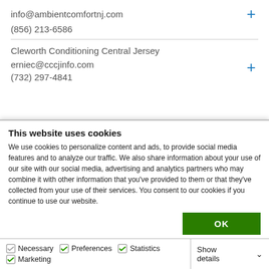info@ambientcomfortnj.com
(856) 213-6586
Cleworth Conditioning Central Jersey
erniec@cccjinfo.com
(732) 297-4841
This website uses cookies
We use cookies to personalize content and ads, to provide social media features and to analyze our traffic. We also share information about your use of our site with our social media, advertising and analytics partners who may combine it with other information that you've provided to them or that they've collected from your use of their services. You consent to our cookies if you continue to use our website.
OK
Necessary  Preferences  Statistics  Marketing  Show details